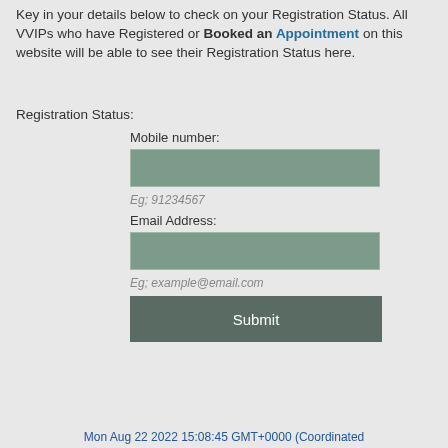Key in your details below to check on your Registration Status. All VVIPs who have Registered or Booked an Appointment on this website will be able to see their Registration Status here.
Registration Status:
Mobile number:
[Figure (other): Input field for mobile number (green/teal filled rectangle)]
Eg; 91234567
Email Address:
[Figure (other): Input field for email address (green/teal filled rectangle)]
Eg; example@email.com
Submit
Mon Aug 22 2022 15:08:45 GMT+0000 (Coordinated